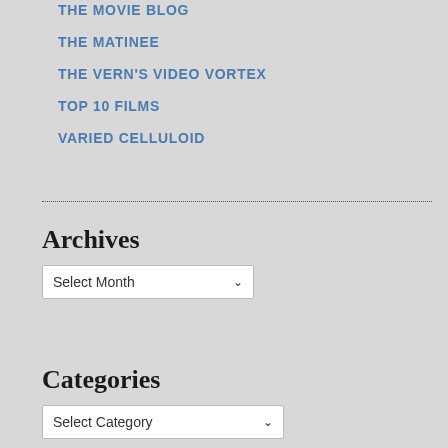THE MOVIE BLOG
THE MATINEE
THE VERN'S VIDEO VORTEX
TOP 10 FILMS
VARIED CELLULOID
Archives
Select Month
Categories
Select Category